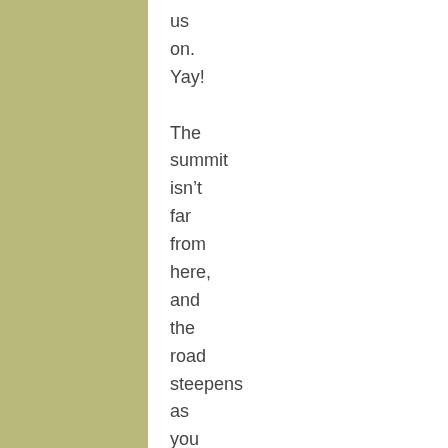us on. Yay! The summit isn't far from here, and the road steepens as you approach it. I began to